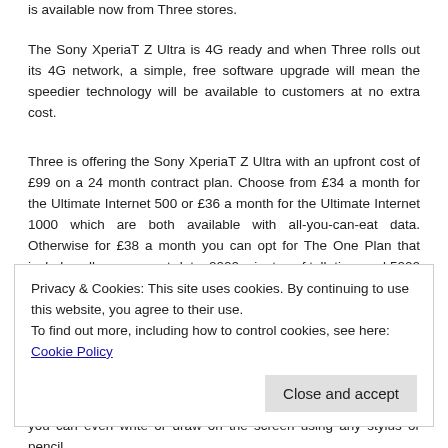is available now from Three stores.
The Sony XperiaT Z Ultra is 4G ready and when Three rolls out its 4G network, a simple, free software upgrade will mean the speedier technology will be available to customers at no extra cost.
Three is offering the Sony XperiaT Z Ultra with an upfront cost of £99 on a 24 month contract plan. Choose from £34 a month for the Ultimate Internet 500 or £36 a month for the Ultimate Internet 1000 which are both available with all-you-can-eat data. Otherwise for £38 a month you can opt for The One Plan that includes all-you-can-eat-data, 2000 minutes of talk time and 5000 Three to Three minutes, plus 5000 texts.
Privacy & Cookies: This site uses cookies. By continuing to use this website, you agree to their use.
To find out more, including how to control cookies, see here: Cookie Policy
The hardwearing device is dust resistant and *waterproof and you can even write or draw on the screen using any stylus or pencil